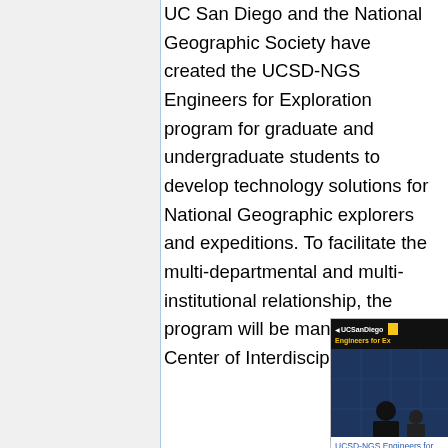UC San Diego and the National Geographic Society have created the UCSD-NGS Engineers for Exploration program for graduate and undergraduate students to develop technology solutions for National Geographic explorers and expeditions. To facilitate the multi-departmental and multi-institutional relationship, the program will be managed by our Center of Interdisciplinary
[Figure (photo): Photo showing UC San Diego and National Geographic Society Engineers for Exploration program branding with a person silhouetted against a screen display]
UCSD-NGS Engineers for Exploration